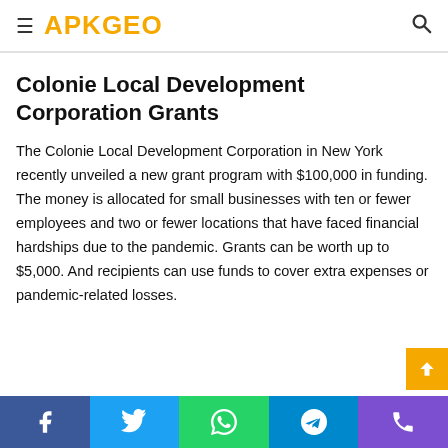APKGEO
Colonie Local Development Corporation Grants
The Colonie Local Development Corporation in New York recently unveiled a new grant program with $100,000 in funding. The money is allocated for small businesses with ten or fewer employees and two or fewer locations that have faced financial hardships due to the pandemic. Grants can be worth up to $5,000. And recipients can use funds to cover extra expenses or pandemic-related losses.
Social share bar: Facebook, Twitter, WhatsApp, Telegram, Phone